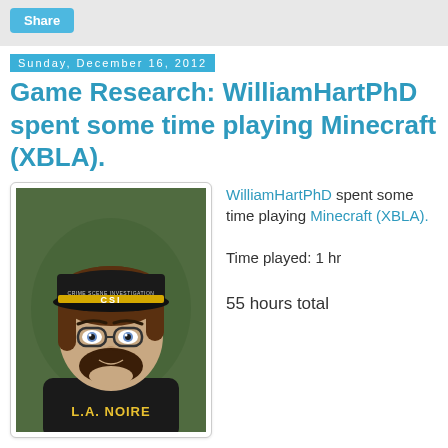Share
Sunday, December 16, 2012
Game Research: WilliamHartPhD spent some time playing Minecraft (XBLA).
[Figure (illustration): 3D avatar of a person wearing a CSI cap, glasses, beard, and L.A. NOIRE t-shirt against a green background]
WilliamHartPhD spent some time playing Minecraft (XBLA).
Time played: 1 hr
55 hours total